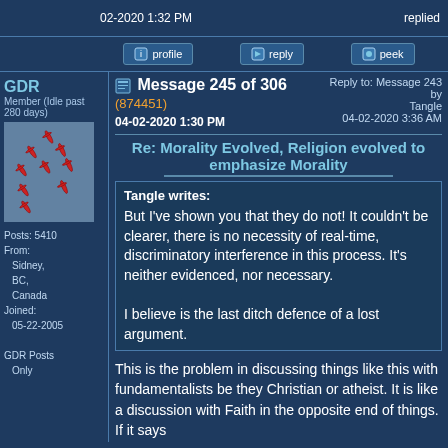02-2020 1:32 PM    replied
profile   reply   peek
Message 245 of 306 (874451)  04-02-2020 1:30 PM    Reply to: Message 243 by Tangle  04-02-2020 3:36 AM
Re: Morality Evolved, Religion evolved to emphasize Morality
GDR Member (Idle past 280 days)  Posts: 5410 From: Sidney, BC, Canada Joined: 05-22-2005  GDR Posts Only
[Figure (photo): Formation of jet aircraft flying in a diamond pattern against a blue sky]
Tangle writes:
But I've shown you that they do not! It couldn't be clearer, there is no necessity of real-time, discriminatory interference in this process. It's neither evidenced, nor necessary.

I believe is the last ditch defence of a lost argument.
This is the problem in discussing things like this with fundamentalists be they Christian or atheist. It is like a discussion with Faith in the opposite end of things. If it says